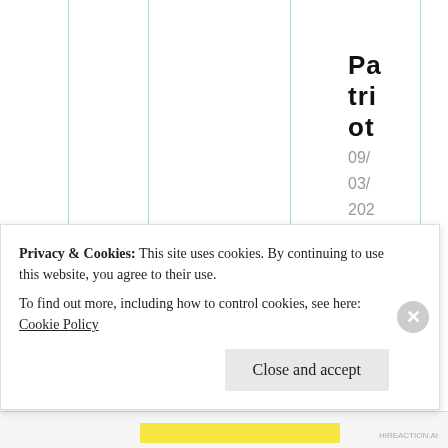[Figure (other): Webpage screenshot showing vertical column lines in teal/green color on white background, with rotated/vertical text on the right side reading 'Patriot 09/03/2021 @ 20:51 at 20:51', followed by a cookie consent banner overlay at bottom]
Privacy & Cookies: This site uses cookies. By continuing to use this website, you agree to their use.
To find out more, including how to control cookies, see here: Cookie Policy
Close and accept